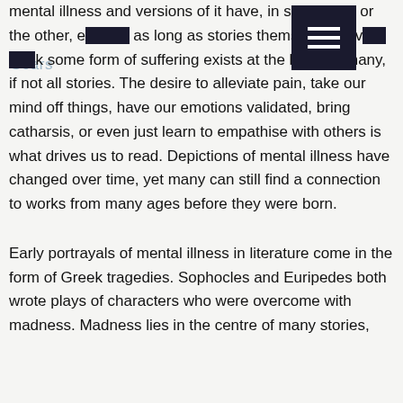mental illness and versions of it have, in some form or the other, existed as long as stories themselves have. I think some form of suffering exists at the heart of many, if not all stories. The desire to alleviate pain, take our mind off things, have our emotions validated, bring catharsis, or even just learn to empathise with others is what drives us to read. Depictions of mental illness have changed over time, yet many can still find a connection to works from many ages before they were born.
Early portrayals of mental illness in literature come in the form of Greek tragedies. Sophocles and Euripedes both wrote plays of characters who were overcome with madness. Madness lies in the centre of many stories,